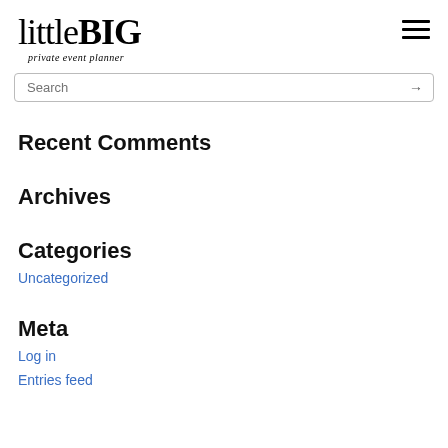littleBIG private event planner
Recent Comments
Archives
Categories
Uncategorized
Meta
Log in
Entries feed